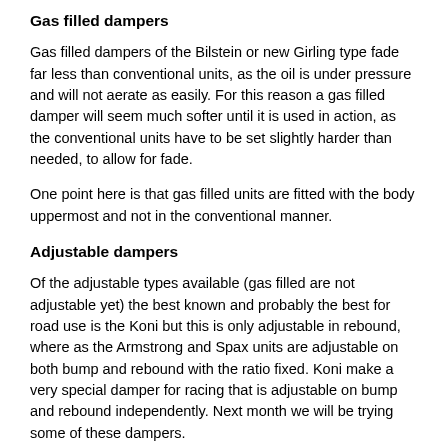Gas filled dampers
Gas filled dampers of the Bilstein or new Girling type fade far less than conventional units, as the oil is under pressure and will not aerate as easily. For this reason a gas filled damper will seem much softer until it is used in action, as the conventional units have to be set slightly harder than needed, to allow for fade.
One point here is that gas filled units are fitted with the body uppermost and not in the conventional manner.
Adjustable dampers
Of the adjustable types available (gas filled are not adjustable yet) the best known and probably the best for road use is the Koni but this is only adjustable in rebound, where as the Armstrong and Spax units are adjustable on both bump and rebound with the ratio fixed. Koni make a very special damper for racing that is adjustable on bump and rebound independently. Next month we will be trying some of these dampers.
Improve your car